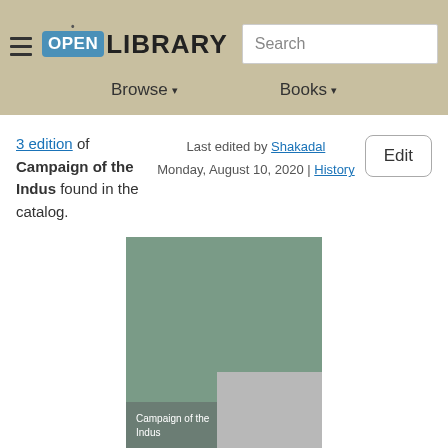OPEN LIBRARY | Search | Browse | Books
3 edition of Campaign of the Indus found in the catalog.
Last edited by Shakadal
Monday, August 10, 2020 | History
Edit
[Figure (illustration): Book cover for 'Campaign of the Indus' by T.W.E. Holdsworth, with a muted green and grey geometric cover design showing the title and author name.]